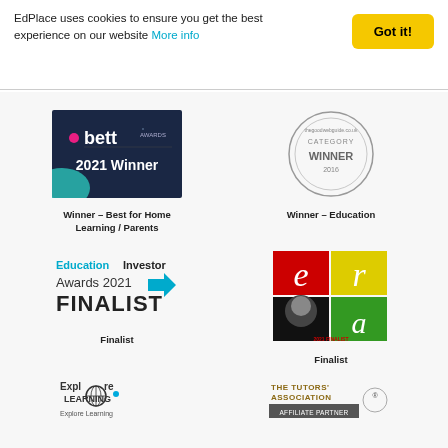EdPlace uses cookies to ensure you get the best experience on our website More info
[Figure (logo): Bett Awards 2021 Winner badge - dark blue background with bett Awards logo and text '2021 Winner']
Winner - Best for Home Learning / Parents
[Figure (logo): The Good Web Guide Category Winner 2016 circular stamp logo]
Winner - Education
[Figure (logo): EducationInvestor Awards 2021 FINALIST logo with blue arrow]
Finalist
[Figure (logo): ERA 2021 FINALIST logo - colorful grid with e, r, a letters and 2021 FINALIST text]
Finalist
[Figure (logo): Explore Learning logo]
[Figure (logo): The Tutors' Association Affiliate Partner logo]